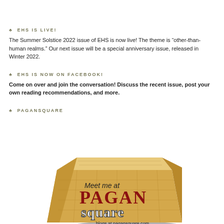♣ EHS IS LIVE!
The Summer Solstice 2022 issue of EHS is now live! The theme is “other-than-human realms.” Our next issue will be a special anniversary issue, released in Winter 2022.
♣ EHS IS NOW ON FACEBOOK!
Come on over and join the conversation! Discuss the recent issue, post your own reading recommendations, and more.
♣ PAGANSQUARE
[Figure (logo): Pagan Square logo: a wooden crate illustration with text 'Meet me at PAGAN square blogs at pagansquare.com']